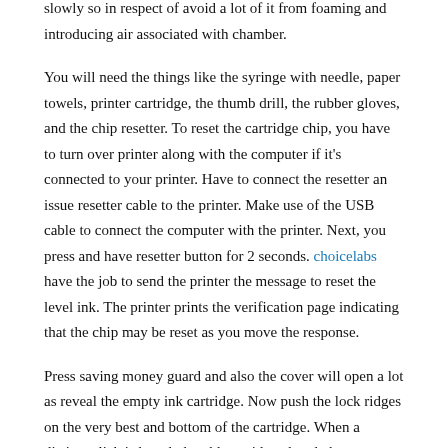slowly so in respect of avoid a lot of it from foaming and introducing air associated with chamber.
You will need the things like the syringe with needle, paper towels, printer cartridge, the thumb drill, the rubber gloves, and the chip resetter. To reset the cartridge chip, you have to turn over printer along with the computer if it's connected to your printer. Have to connect the resetter an issue resetter cable to the printer. Make use of the USB cable to connect the computer with the printer. Next, you press and have resetter button for 2 seconds. choicelabs have the job to send the printer the message to reset the level ink. The printer prints the verification page indicating that the chip may be reset as you move the response.
Press saving money guard and also the cover will open a lot as reveal the empty ink cartridge. Now push the lock ridges on the very best and bottom of the cartridge. When a distinct click is heard, the old cartridge already been released out from the unit.